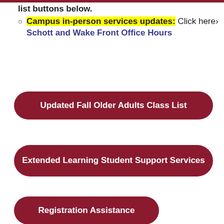list buttons below.
Campus in-person services updates: Click here› Schott and Wake Front Office Hours
Updated Fall Older Adults Class List
Extended Learning Student Support Services
Registration Assistance